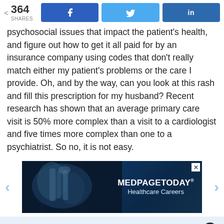364 SHARES | Facebook share | Twitter share | LinkedIn share
psychosocial issues that impact the patient's health, and figure out how to get it all paid for by an insurance company using codes that don't really match either my patient's problems or the care I provide. Oh, and by the way, can you look at this rash and fill this prescription for my husband? Recent research has shown that an average primary care visit is 50% more complex than a visit to a cardiologist and five times more complex than one to a psychiatrist. So no, it is not easy.
[Figure (screenshot): Advertisement banner for MedPageToday Healthcare Careers showing an X-ray image on a dark blue background]
✓  Join 150,000+ subscribers
✓  Get KevinMD's most popular stories